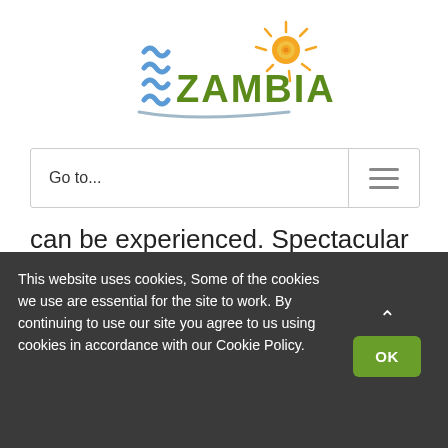[Figure (logo): Zambia tourism logo with blue wave stripes and green ZAMBIA text with orange sun illustration]
Go to...
can be experienced. Spectacular daily sunsets are almost guaranteed.
[Figure (illustration): Green hill / dome shape at bottom of content area]
This website uses cookies, Some of the cookies we use are essential for the site to work. By continuing to use our site you agree to us using cookies in accordance with our Cookie Policy.